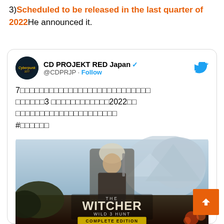3) Scheduled to be released in the last quarter of 2022 He announced it.
[Figure (screenshot): Embedded tweet from CD PROJEKT RED Japan (@CDPRJP) with verified badge, Japanese text about Witcher 3 release in 2022, and The Witcher 3: Wild Hunt Complete Edition game cover art image]
CD PROJEKT RED Japan @CDPRJP · Follow
7□□□□□□□□□□□□□□□□□□□□□□□□□□ □□□□□□3 □□□□□□□□□□□□2022□□ □□□□□□□□□□□□□□□□□□□□□ #□□□□□□